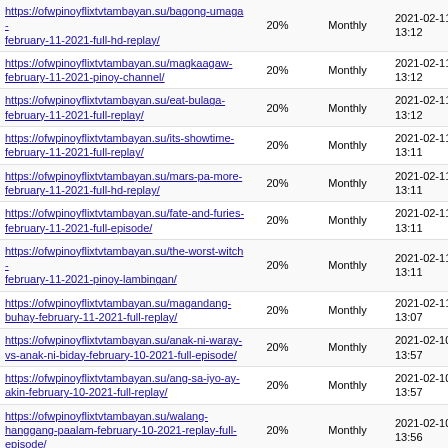| URL | Priority | Change Frequency | Last Modified |
| --- | --- | --- | --- |
| https://ofwpinoyflixtvtambayan.su/bagong-umaga-february-11-2021-full-hd-replay/ | 20% | Monthly | 2021-02-11 13:12 |
| https://ofwpinoyflixtvtambayan.su/magkaagaw-february-11-2021-pinoy-channel/ | 20% | Monthly | 2021-02-11 13:12 |
| https://ofwpinoyflixtvtambayan.su/eat-bulaga-february-11-2021-full-replay/ | 20% | Monthly | 2021-02-11 13:12 |
| https://ofwpinoyflixtvtambayan.su/its-showtime-february-11-2021-full-replay/ | 20% | Monthly | 2021-02-11 13:11 |
| https://ofwpinoyflixtvtambayan.su/mars-pa-more-february-11-2021-full-hd-replay/ | 20% | Monthly | 2021-02-11 13:11 |
| https://ofwpinoyflixtvtambayan.su/fate-and-furies-february-11-2021-full-episode/ | 20% | Monthly | 2021-02-11 13:11 |
| https://ofwpinoyflixtvtambayan.su/the-worst-witch-february-11-2021-pinoy-lambingan/ | 20% | Monthly | 2021-02-11 13:11 |
| https://ofwpinoyflixtvtambayan.su/magandang-buhay-february-11-2021-full-replay/ | 20% | Monthly | 2021-02-11 13:07 |
| https://ofwpinoyflixtvtambayan.su/anak-ni-waray-vs-anak-ni-biday-february-10-2021-full-episode/ | 20% | Monthly | 2021-02-10 13:57 |
| https://ofwpinoyflixtvtambayan.su/ang-sa-iyo-ay-akin-february-10-2021-full-replay/ | 20% | Monthly | 2021-02-10 13:57 |
| https://ofwpinoyflixtvtambayan.su/walang-hanggang-paalam-february-10-2021-replay-full-episode/ | 20% | Monthly | 2021-02-10 13:56 |
| https://ofwpinoyflixtvtambayan.su/ang-probinsyano-february-10-2021-pinoy-channel-tv/ | 20% | Monthly | 2021-02-10 13:58 |
| https://ofwpinoyflixtvtambayan.su/love-of-my-life-february-10-2021-full-episode/ | 20% | Monthly | 2021-02-10 13:58 |
| https://ofwpinoyflixtvtambayan.su/24-oras-february-10-2021-replay-full-hd-episode/ | 20% | Monthly | 2021-02-10 12:55 |
| https://ofwpinoyflixtvtambayan.su/tv-patrol-february-10-2021-replay-full-hd/ | 20% | Monthly | 2021-02-10 12:55 |
| https://ofwpinoyflixtvtambayan.su/i-have-a-love-february-10-2021-full-hd-replay/ | 20% | Monthly | 2021-02-10 12:48 |